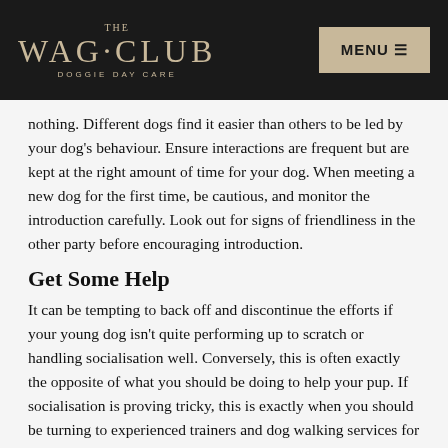THE WAG CLUB DOGGIE DAY CARE | MENU
nothing. Different dogs find it easier than others to be led by your dog's behaviour. Ensure interactions are frequent but are kept at the right amount of time for your dog. When meeting a new dog for the first time, be cautious, and monitor the introduction carefully. Look out for signs of friendliness in the other party before encouraging introduction.
Get Some Help
It can be tempting to back off and discontinue the efforts if your young dog isn't quite performing up to scratch or handling socialisation well. Conversely, this is often exactly the opposite of what you should be doing to help your pup. If socialisation is proving tricky, this is exactly when you should be turning to experienced trainers and dog walking services for some help.